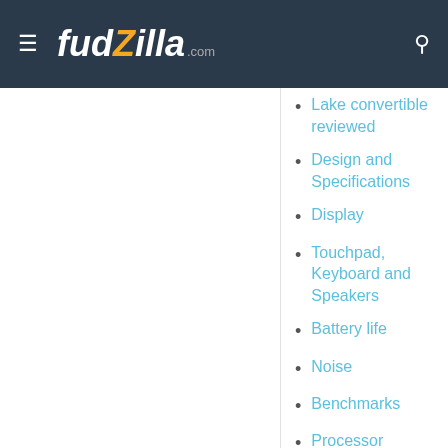fudzilla.com
Lake convertible reviewed
Design and Specifications
Display
Touchpad, Keyboard and Speakers
Battery life
Noise
Benchmarks
Processor Performance
Conclusion